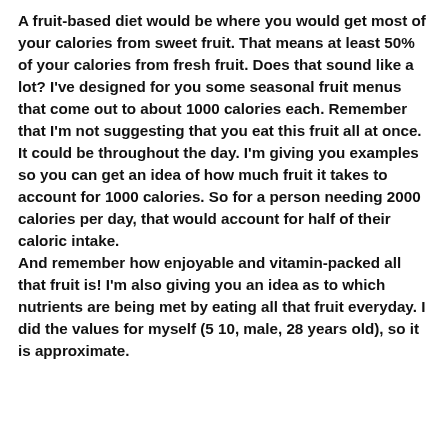A fruit-based diet would be where you would get most of your calories from sweet fruit. That means at least 50% of your calories from fresh fruit. Does that sound like a lot? I've designed for you some seasonal fruit menus that come out to about 1000 calories each. Remember that I'm not suggesting that you eat this fruit all at once. It could be throughout the day. I'm giving you examples so you can get an idea of how much fruit it takes to account for 1000 calories. So for a person needing 2000 calories per day, that would account for half of their caloric intake. And remember how enjoyable and vitamin-packed all that fruit is! I'm also giving you an idea as to which nutrients are being met by eating all that fruit everyday. I did the values for myself (5 10, male, 28 years old), so it is approximate.